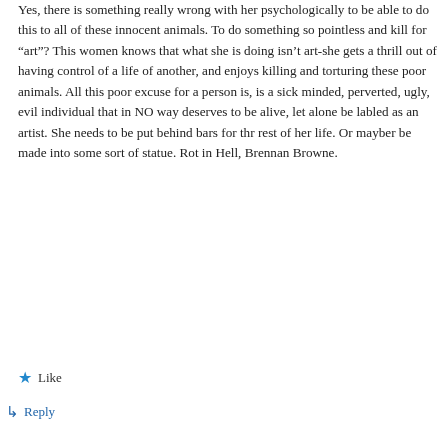Yes, there is something really wrong with her psychologically to be able to do this to all of these innocent animals. To do something so pointless and kill for “art”? This women knows that what she is doing isn’t art-she gets a thrill out of having control of a life of another, and enjoys killing and torturing these poor animals. All this poor excuse for a person is, is a sick minded, perverted, ugly, evil individual that in NO way deserves to be alive, let alone be labled as an artist. She needs to be put behind bars for thr rest of her life. Or mayber be made into some sort of statue. Rot in Hell, Brennan Browne.
★ Like
↳ Reply